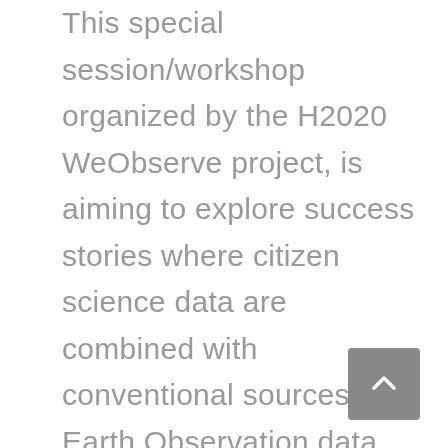This special session/workshop organized by the H2020 WeObserve project, is aiming to explore success stories where citizen science data are combined with conventional sources of Earth Observation data. Focus will be given to showcase best practices arising from the activities of H2020 Citizen Observatories and from other projects as well, while illustrating how the integration of Earth Observation and citizen science can improve environmental monitoring. In particular, the following topics will be addressed during this two-hours workshop: